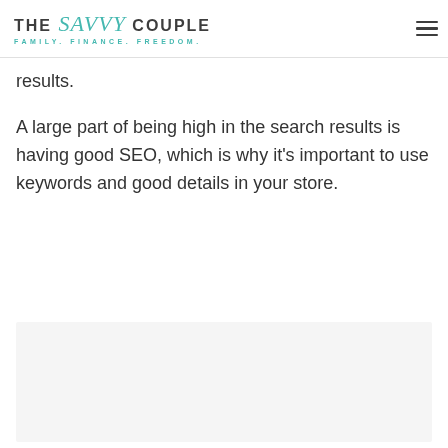THE Savvy COUPLE — FAMILY. FINANCE. FREEDOM.
results.
A large part of being high in the search results is having good SEO, which is why it's important to use keywords and good details in your store.
[Figure (photo): Light gray placeholder image block at bottom of page]